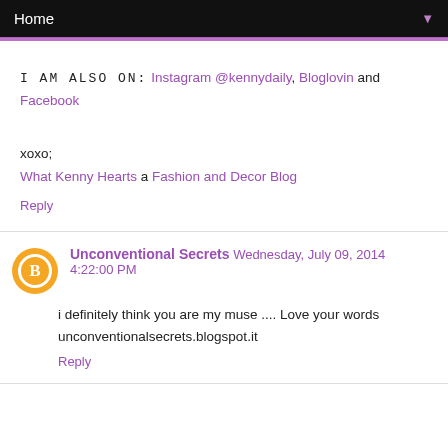Home ▼
I AM ALSO ON: Instagram @kennydaily, Bloglovin and Facebook
xoxo;
What Kenny Hearts a Fashion and Decor Blog
Reply
Unconventional Secrets Wednesday, July 09, 2014 4:22:00 PM
i definitely think you are my muse .... Love your words unconventionalsecrets.blogspot.it
Reply